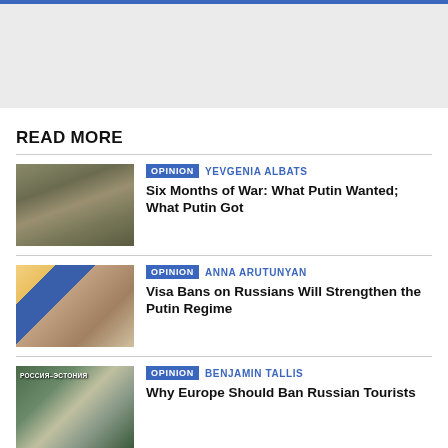[Figure (other): Top banner area with blue accent bar and light gray background]
READ MORE
[Figure (photo): Military tank in muddy terrain near industrial buildings]
OPINION  YEVGENIA ALBATS
Six Months of War: What Putin Wanted; What Putin Got
[Figure (photo): People with luggage boarding a yellow bus]
OPINION  ANNA ARUTUNYAN
Visa Bans on Russians Will Strengthen the Putin Regime
[Figure (photo): Russia-Estonia border crossing sign with people walking]
OPINION  BENJAMIN TALLIS
Why Europe Should Ban Russian Tourists